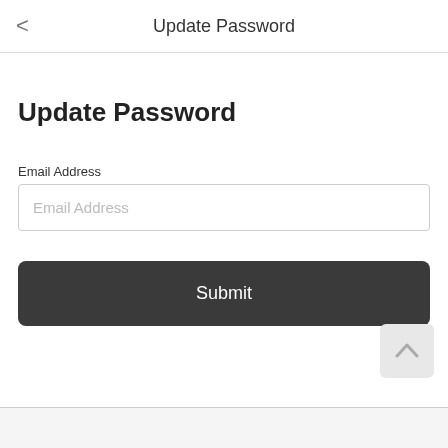Update Password
Update Password
Email Address
Email Address
Submit